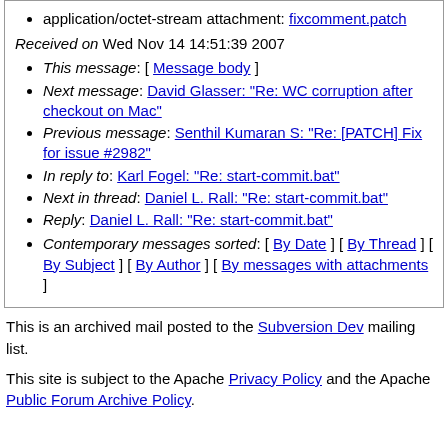application/octet-stream attachment: fixcomment.patch
Received on Wed Nov 14 14:51:39 2007
This message: [ Message body ]
Next message: David Glasser: "Re: WC corruption after checkout on Mac"
Previous message: Senthil Kumaran S: "Re: [PATCH] Fix for issue #2982"
In reply to: Karl Fogel: "Re: start-commit.bat"
Next in thread: Daniel L. Rall: "Re: start-commit.bat"
Reply: Daniel L. Rall: "Re: start-commit.bat"
Contemporary messages sorted: [ By Date ] [ By Thread ] [ By Subject ] [ By Author ] [ By messages with attachments ]
This is an archived mail posted to the Subversion Dev mailing list.
This site is subject to the Apache Privacy Policy and the Apache Public Forum Archive Policy.